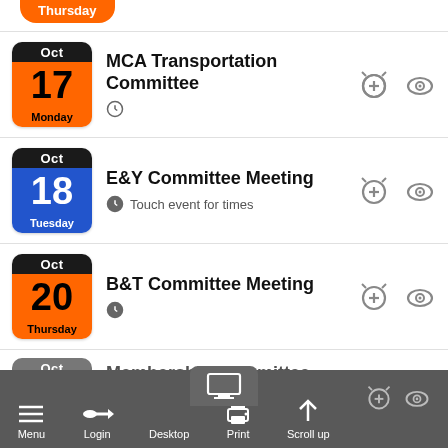[Figure (screenshot): Mobile calendar app event list showing upcoming events with date icons, event titles, clock icons, and action buttons. Bottom navigation bar visible.]